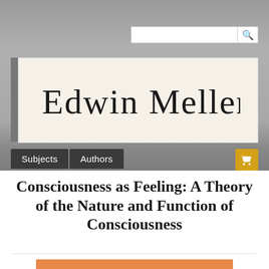[Figure (logo): Edwin Mellen Press handwritten cursive logo on cream background]
Subjects
Authors
Consciousness as Feeling: A Theory of the Nature and Function of Consciousness
[Figure (photo): Book cover preview with orange/salmon background, partially visible]